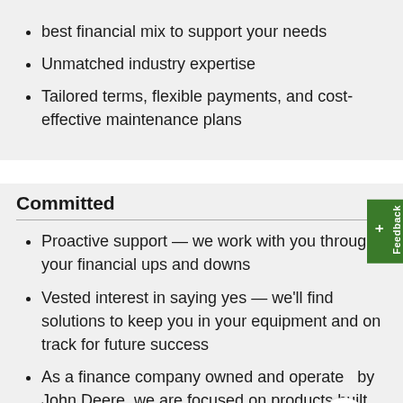best financial mix to support your needs
Unmatched industry expertise
Tailored terms, flexible payments, and cost-effective maintenance plans
Committed
Proactive support — we work with you through your financial ups and downs
Vested interest in saying yes — we'll find solutions to keep you in your equipment and on track for future success
As a finance company owned and operated by John Deere, we are focused on products built by John Deere